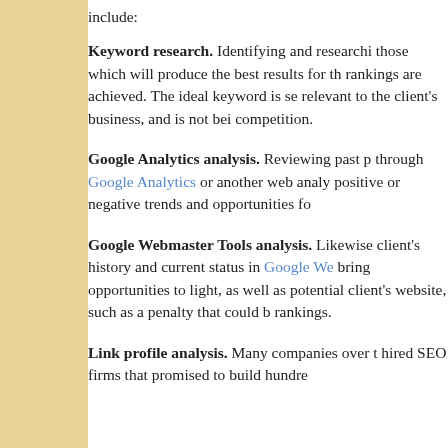include:
Keyword research. Identifying and researching those which will produce the best results for the rankings are achieved. The ideal keyword is se relevant to the client's business, and is not bei competition.
Google Analytics analysis. Reviewing past p through Google Analytics or another web analy positive or negative trends and opportunities fo
Google Webmaster Tools analysis. Likewise client's history and current status in Google We bring opportunities to light, as well as potential client's website, such as a penalty that could b rankings.
Link profile analysis. Many companies over t hired SEO firms that promised to build hundre